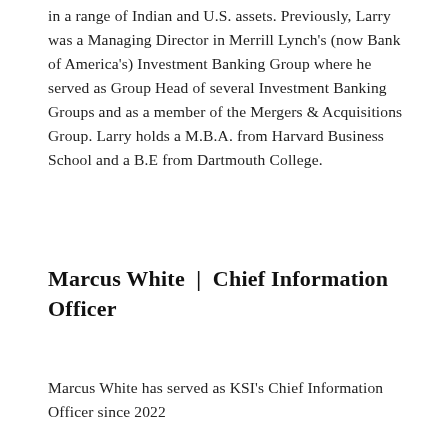in a range of Indian and U.S. assets. Previously, Larry was a Managing Director in Merrill Lynch's (now Bank of America's) Investment Banking Group where he served as Group Head of several Investment Banking Groups and as a member of the Mergers & Acquisitions Group. Larry holds a M.B.A. from Harvard Business School and a B.E from Dartmouth College.
Marcus White  |  Chief Information Officer
Marcus White has served as KSI's Chief Information Officer since 2022